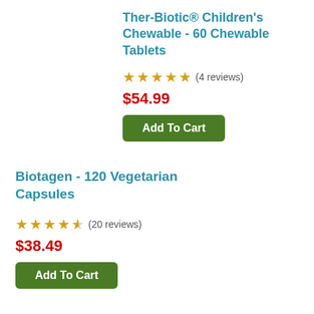Ther-Biotic® Children's Chewable - 60 Chewable Tablets
★★★★★ (4 reviews)
$54.99
Add To Cart
Biotagen - 120 Vegetarian Capsules
★★★★½ (20 reviews)
$38.49
Add To Cart
Vitamin D Plus K - 60 Capsules